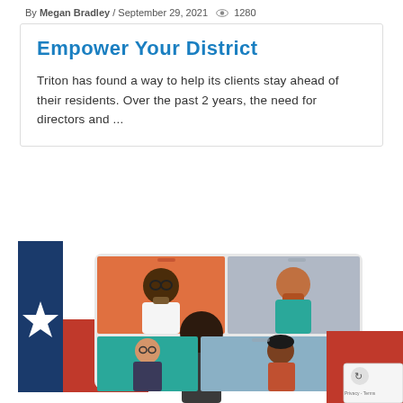By Megan Bradley / September 29, 2021  👁 1280
Empower Your District
Triton has found a way to help its clients stay ahead of their residents. Over the past 2 years, the need for directors and ...
[Figure (illustration): Illustration showing a Texas state flag with a white star on a dark blue background overlapped by a video conferencing screen showing five diverse cartoon people in different video call panels, alongside a red block in the lower right corner and a reCAPTCHA badge.]